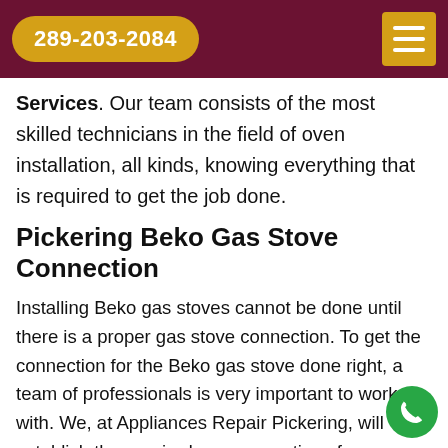289-203-2084
Services. Our team consists of the most skilled technicians in the field of oven installation, all kinds, knowing everything that is required to get the job done.
Pickering Beko Gas Stove Connection
Installing Beko gas stoves cannot be done until there is a proper gas stove connection. To get the connection for the Beko gas stove done right, a team of professionals is very important to work with. We, at Appliances Repair Pickering, will establish the required gas connections for your Beko stove can get in contact with Appliances Repair